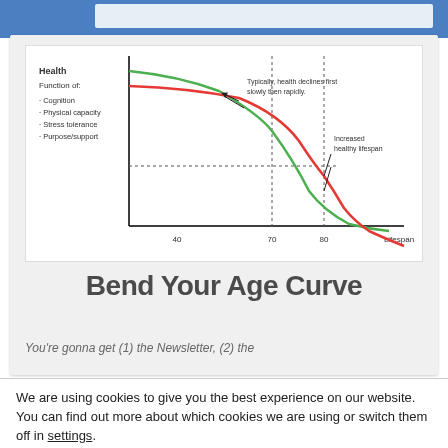[Figure (continuous-plot): Health vs Lifespan curve chart showing two curves (green and red). Green curve declines slowly then rapidly (typical health decline). Red curve represents increased healthy lifespan, declining later. X-axis shows ages 40, 70, 80. Y-axis labeled 'Health / Function of: Cognition, Physical capacity, Stress tolerance, Purpose/support'. Dotted reference lines at age 70 and 80. Annotations: 'Typically, health declines first slowly then rapidly' and 'Increased healthy lifespan'.]
Bend Your Age Curve
You're gonna get (1) the Newsletter, (2) the
We are using cookies to give you the best experience on our website.
You can find out more about which cookies we are using or switch them off in settings.